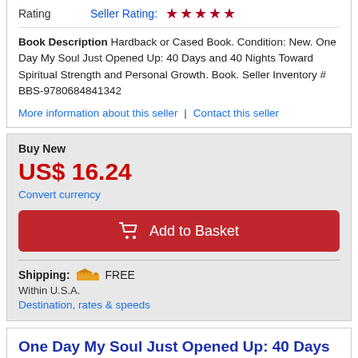Rating   Seller Rating: ★★★★★
Book Description Hardback or Cased Book. Condition: New. One Day My Soul Just Opened Up: 40 Days and 40 Nights Toward Spiritual Strength and Personal Growth. Book. Seller Inventory # BBS-9780684841342
More information about this seller | Contact this seller
Buy New
US$ 16.24
Convert currency
Add to Basket
Shipping: FREE
Within U.S.A.
Destination, rates & speeds
One Day My Soul Just Opened Up: 40 Days and 40 Nights Toward Spiritual Strength and